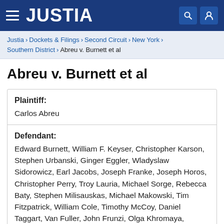JUSTIA
Justia › Dockets & Filings › Second Circuit › New York › Southern District › Abreu v. Burnett et al
Abreu v. Burnett et al
| Role | Name |
| --- | --- |
| Plaintiff: | Carlos Abreu |
| Defendant: | Edward Burnett, William F. Keyser, Christopher Karson, Stephen Urbanski, Ginger Eggler, Wladyslaw Sidorowicz, Earl Jacobs, Joseph Franke, Joseph Horos, Christopher Perry, Troy Lauria, Michael Sorge, Rebecca Baty, Stephen Milisauskas, Michael Makowski, Tim Fitzpatrick, William Cole, Timothy McCoy, Daniel Taggart, Van Fuller, John Frunzi, Olga Khromaya, Deniche Goodman, Garritt Bruce |